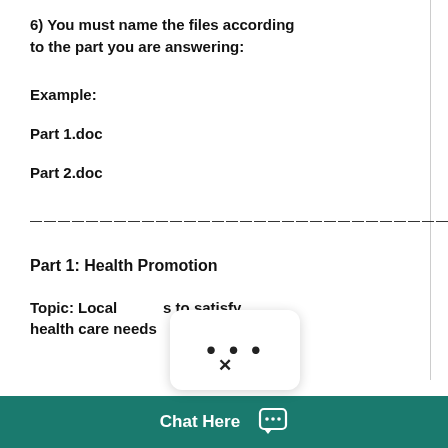6) You must name the files according to the part you are answering:
Example:
Part 1.doc
Part 2.doc
Part 1: Health Promotion
Topic: Local [strategies] to satisfy health care needs